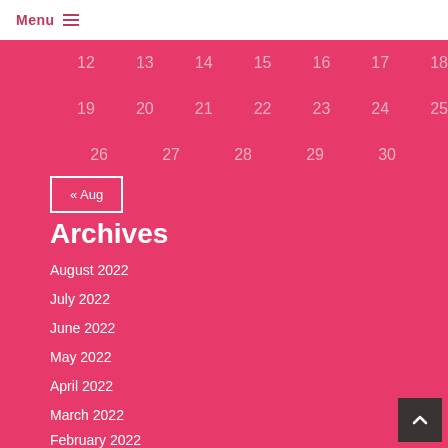Menu ☰
| 12 | 13 | 14 | 15 | 16 | 17 | 18 |
| 19 | 20 | 21 | 22 | 23 | 24 | 25 |
| 26 | 27 | 28 | 29 | 30 |  |  |
« Aug
Archives
August 2022
July 2022
June 2022
May 2022
April 2022
March 2022
February 2022